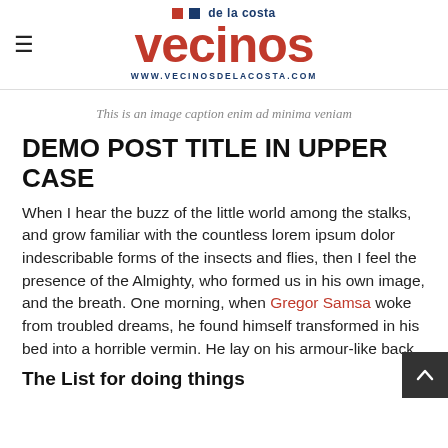vecinos de la costa | WWW.VECINOSDELACOSTA.COM
This is an image caption enim ad minima veniam
DEMO POST TITLE IN UPPER CASE
When I hear the buzz of the little world among the stalks, and grow familiar with the countless lorem ipsum dolor indescribable forms of the insects and flies, then I feel the presence of the Almighty, who formed us in his own image, and the breath. One morning, when Gregor Samsa woke from troubled dreams, he found himself transformed in his bed into a horrible vermin. He lay on his armour-like back.
The List for doing things